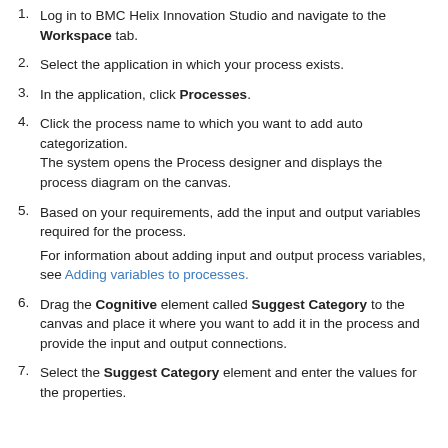Log in to BMC Helix Innovation Studio and navigate to the Workspace tab.
Select the application in which your process exists.
In the application, click Processes.
Click the process name to which you want to add auto categorization. The system opens the Process designer and displays the process diagram on the canvas.
Based on your requirements, add the input and output variables required for the process. For information about adding input and output process variables, see Adding variables to processes.
Drag the Cognitive element called Suggest Category to the canvas and place it where you want to add it in the process and provide the input and output connections.
Select the Suggest Category element and enter the values for the properties.